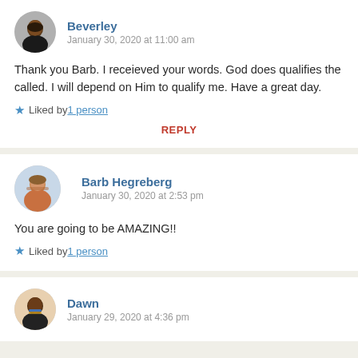Beverley
January 30, 2020 at 11:00 am
Thank you Barb. I receieved your words. God does qualifies the called. I will depend on Him to qualify me. Have a great day.
Liked by 1 person
REPLY
Barb Hegreberg
January 30, 2020 at 2:53 pm
You are going to be AMAZING!!
Liked by 1 person
Dawn
January 29, 2020 at 4:36 pm